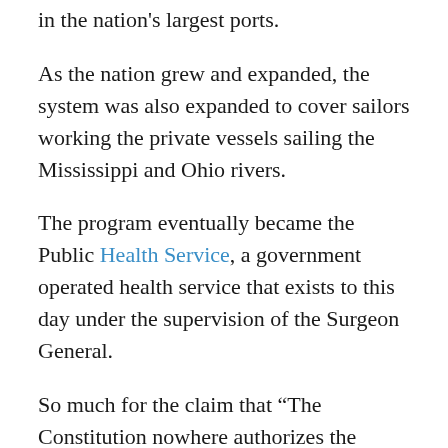in the nation's largest ports.
As the nation grew and expanded, the system was also expanded to cover sailors working the private vessels sailing the Mississippi and Ohio rivers.
The program eventually became the Public Health Service, a government operated health service that exists to this day under the supervision of the Surgeon General.
So much for the claim that “The Constitution nowhere authorizes the United States to mandate, either directly or under threat of penalty….”
As for Congress’ understanding of the limits of the Constitution at the time the Act was passed, it is worth noting that Thomas Jefferson was the President of the Senate during the 5th Congress while Jonathan Dayton,